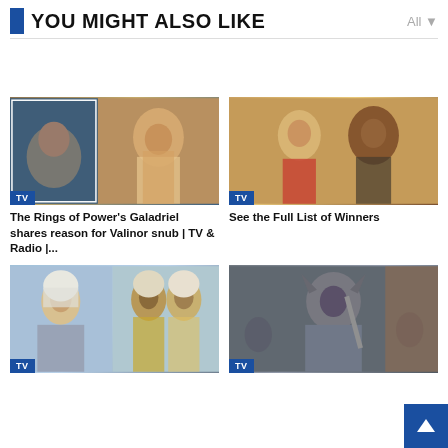YOU MIGHT ALSO LIKE
[Figure (photo): TV article thumbnail: The Rings of Power Galadriel character, blonde woman looking up, with smaller inset image of woman in water]
The Rings of Power's Galadriel shares reason for Valinor snub | TV & Radio |...
[Figure (photo): TV article thumbnail: Two women in dramatic scene, one with red scarf and one with long brown curly hair]
See the Full List of Winners
[Figure (photo): TV article thumbnail: Two characters with long white/silver hair from fantasy TV show]
[Figure (photo): TV article thumbnail: Armored warrior figure holding weapon, blue-grey tones]